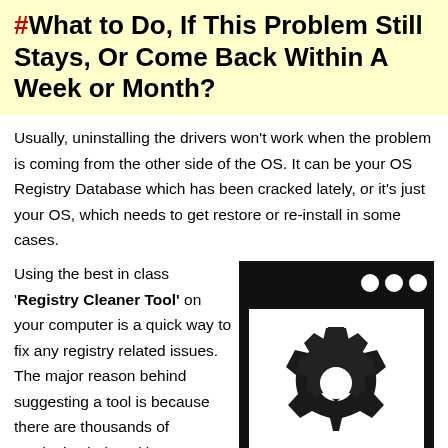#What to Do, If This Problem Still Stays, Or Come Back Within A Week or Month?
Usually, uninstalling the drivers won't work when the problem is coming from the other side of the OS. It can be your OS Registry Database which has been cracked lately, or it's just your OS, which needs to get restore or re-install in some cases.
[Figure (illustration): Black and white icon of a computer window (browser/app) with three white circles in the top-right of the title bar, and a large gear/cog icon centered in the window area on a white background.]
Using the best in class 'Registry Cleaner Tool' on your computer is a quick way to fix any registry related issues. The major reason behind suggesting a tool is because there are thousands of Registries indexed in your Windows Registry